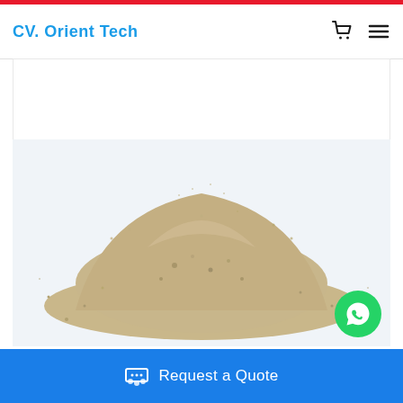CV. Orient Tech
[Figure (photo): A pile of sand or granular material (silica sand / quartz sand) on a white background, scattered grains visible around the central heap]
Request a Quote